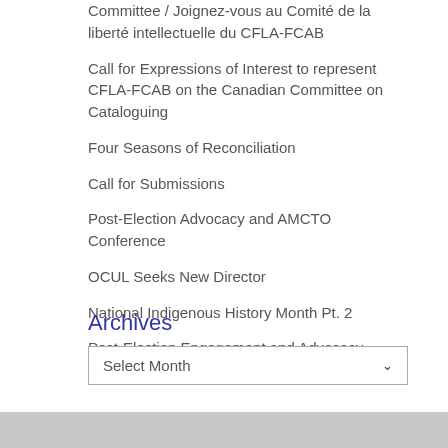Committee / Joignez-vous au Comité de la liberté intellectuelle du CFLA-FCAB
Call for Expressions of Interest to represent CFLA-FCAB on the Canadian Committee on Cataloguing
Four Seasons of Reconciliation
Call for Submissions
Post-Election Advocacy and AMCTO Conference
OCUL Seeks New Director
National Indigenous History Month Pt. 2
Post-Election Engagement and Advocacy
Archives
Select Month